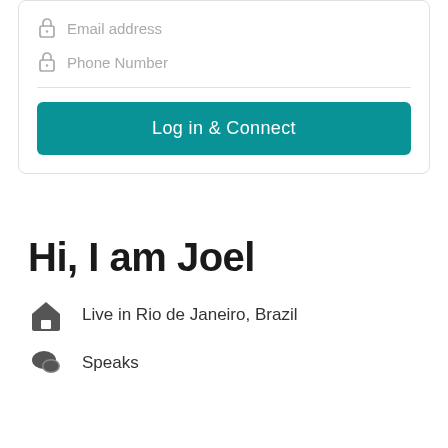[Figure (screenshot): Login form card with lock icons next to 'Email address' and 'Phone Number' placeholder fields, a horizontal divider, and a teal 'Log in & Connect' button]
Hi, I am Joel
Live in Rio de Janeiro, Brazil
Speaks